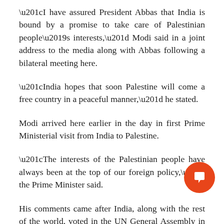“I have assured President Abbas that India is bound by a promise to take care of Palestinian people’s interests,” Modi said in a joint address to the media along with Abbas following a bilateral meeting here.
“India hopes that soon Palestine will come a free country in a peaceful manner,” he stated.
Modi arrived here earlier in the day in first Prime Ministerial visit from India to Palestine.
“The interests of the Palestinian people have always been at the top of our foreign policy,” the Prime Minister said.
His comments came after India, along with the rest of the world, voted in the UN General Assembly in December last year against US President Donald Trump’s unilateral recognition of Jerusalem as the capital of Isreal.
Stating that India hoped for peace and stability in Palestine, he